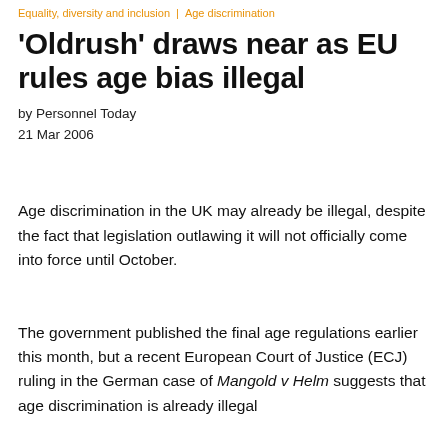Equality, diversity and inclusion  |  Age discrimination
'Oldrush' draws near as EU rules age bias illegal
by Personnel Today
21 Mar 2006
Age discrimination in the UK may already be illegal, despite the fact that legislation outlawing it will not officially come into force until October.
The government published the final age regulations earlier this month, but a recent European Court of Justice (ECJ) ruling in the German case of Mangold v Helm suggests that age discrimination is already illegal